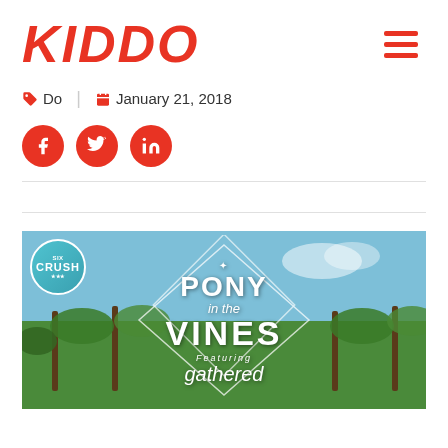KIDDO
Do | January 21, 2018
[Figure (infographic): Social share buttons: Facebook, Twitter, LinkedIn (red circles with white icons)]
[Figure (photo): Pony in the Vines event promotional image showing vineyard background with diamond/geometric overlay design, CRUSH badge top left, text reads PONY in the VINES Featuring gathered]